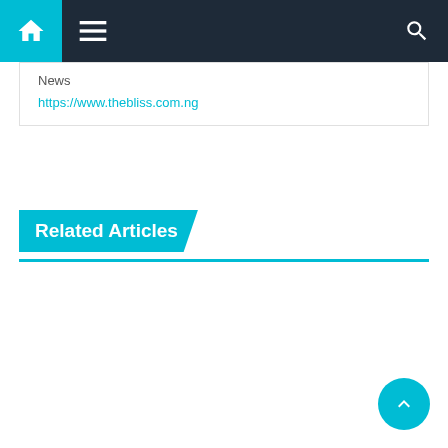Navigation bar with home, menu, and search icons
News
https://www.thebliss.com.ng
Related Articles